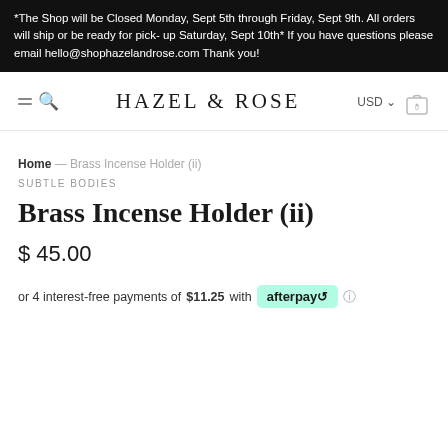*The Shop will be Closed Monday, Sept 5th through Friday, Sept 9th. All orders will ship or be ready for pick- up Saturday, Sept 10th* If you have questions please email hello@shophazelandrose.com Thank you!
HAZEL & ROSE
Home — Brass Incense Holder (ii)
SUBTLE BODIES
Brass Incense Holder (ii)
$ 45.00
or 4 interest-free payments of $11.25 with afterpay